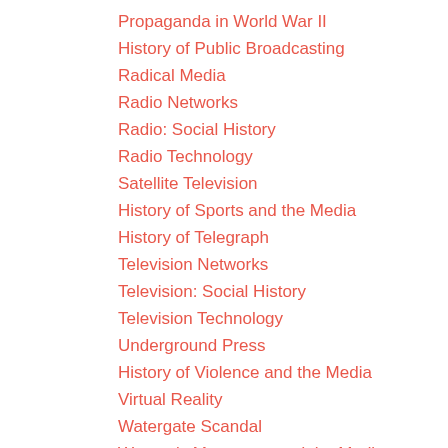Propaganda in World War II
History of Public Broadcasting
Radical Media
Radio Networks
Radio: Social History
Radio Technology
Satellite Television
History of Sports and the Media
History of Telegraph
Television Networks
Television: Social History
Television Technology
Underground Press
History of Violence and the Media
Virtual Reality
Watergate Scandal
Women's Movement and the Media